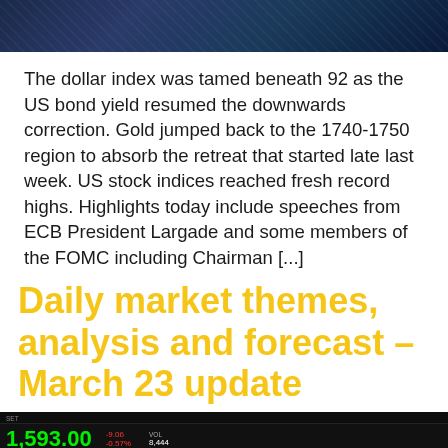[Figure (photo): Top portion of a financial/trading themed photo with dark blue tones, partially visible]
The dollar index was tamed beneath 92 as the US bond yield resumed the downwards correction. Gold jumped back to the 1740-1750 region to absorb the retreat that started late last week. US stock indices reached fresh record highs. Highlights today include speeches from ECB President Largade and some members of the FOMC including Chairman [...]
Daily market themes, analysis and forecast – March 23 update
[Figure (photo): Stock market ticker board showing colorful financial data with green, red, and cyan numbers on dark background. A yellow chat button is visible in the bottom right corner.]